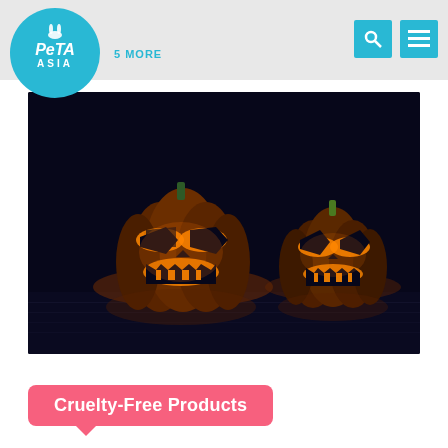PETA ASIA | 5 MORE
[Figure (photo): Two carved Halloween jack-o'-lantern pumpkins glowing with orange light against a dark background. The left pumpkin is larger and the right pumpkin is smaller. Both have menacing carved faces with glowing eyes and jagged mouths.]
Cruelty-Free Products